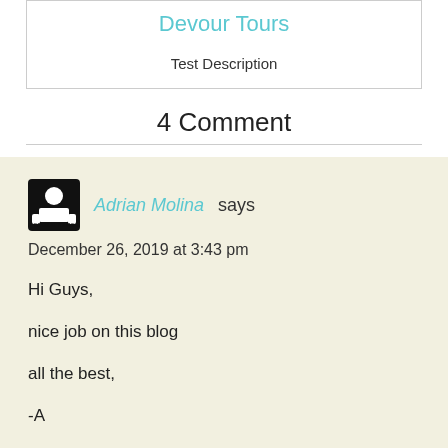Devour Tours
Test Description
4 Comment
Adrian Molina says
December 26, 2019 at 3:43 pm
Hi Guys,
nice job on this blog
all the best,
-A